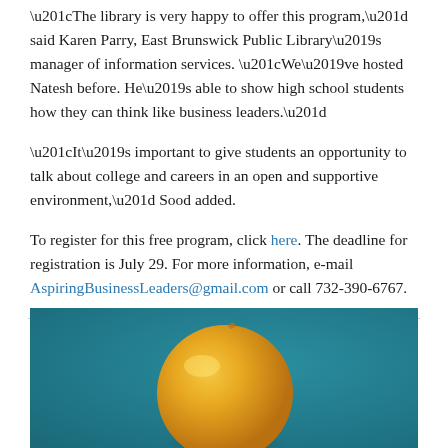“The library is very happy to offer this program,” said Karen Parry, East Brunswick Public Library’s manager of information services. “We’ve hosted Natesh before. He’s able to show high school students how they can think like business leaders.”
“It’s important to give students an opportunity to talk about college and careers in an open and supportive environment,” Sood added.
To register for this free program, click here. The deadline for registration is July 29. For more information, e-mail AspiringBusinessLeaders@gmail.com or call 732-390-6767.
[Figure (photo): A yellow balloon or ball against a teal/blue background, photographed in close-up.]